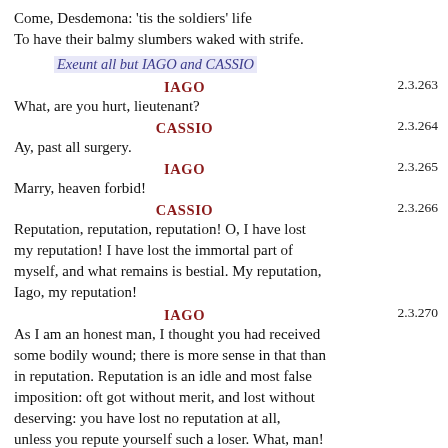Come, Desdemona: 'tis the soldiers' life
To have their balmy slumbers waked with strife.
Exeunt all but IAGO and CASSIO
IAGO
What, are you hurt, lieutenant?
CASSIO
Ay, past all surgery.
IAGO
Marry, heaven forbid!
CASSIO
Reputation, reputation, reputation! O, I have lost my reputation! I have lost the immortal part of myself, and what remains is bestial. My reputation, Iago, my reputation!
IAGO
As I am an honest man, I thought you had received some bodily wound; there is more sense in that than in reputation. Reputation is an idle and most false imposition: oft got without merit, and lost without deserving: you have lost no reputation at all, unless you repute yourself such a loser. What, man! there are ways to recover the general again: you are but now cast in his mood, a punishment more in policy than in malice, even so as one would beat his